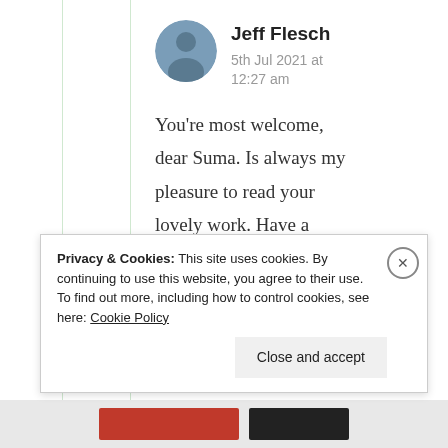Jeff Flesch
5th Jul 2021 at 12:27 am
You’re most welcome, dear Suma. Is always my pleasure to read your lovely work. Have a wonderful week, my friend. ❤️🙏
Privacy & Cookies: This site uses cookies. By continuing to use this website, you agree to their use.
To find out more, including how to control cookies, see here: Cookie Policy